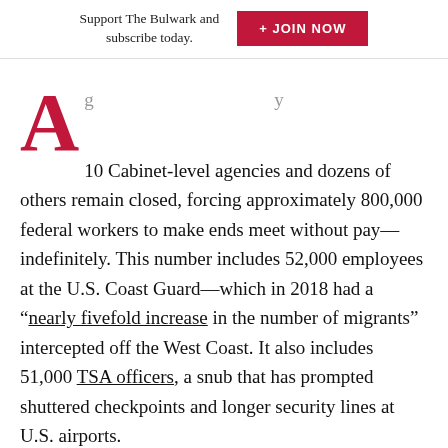Support The Bulwark and subscribe today. + JOIN NOW
10 Cabinet-level agencies and dozens of others remain closed, forcing approximately 800,000 federal workers to make ends meet without pay—indefinitely. This number includes 52,000 employees at the U.S. Coast Guard—which in 2018 had a “nearly fivefold increase in the number of migrants” intercepted off the West Coast. It also includes 51,000 TSA officers, a snub that has prompted shuttered checkpoints and longer security lines at U.S. airports.
Translated, while President Trump touts “a growing humanitarian and security crisis” at the